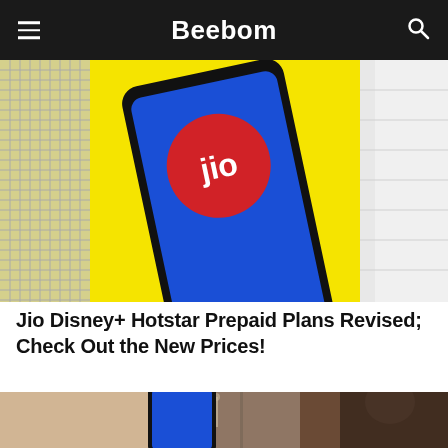Beebom
[Figure (photo): A smartphone with a blue screen displaying the Jio logo (red circle with white 'jio' text) lying on a yellow background with a notebook and white fabric/towel visible]
Jio Disney+ Hotstar Prepaid Plans Revised; Check Out the New Prices!
[Figure (photo): A smartphone with a blue screen standing upright on a surface with a blurred indoor background, with a person partially visible on the right side]